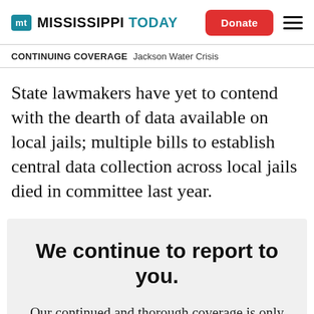MISSISSIPPI TODAY | Donate
CONTINUING COVERAGE  Jackson Water Crisis
State lawmakers have yet to contend with the dearth of data available on local jails; multiple bills to establish central data collection across local jails died in committee last year.
We continue to report to you.
Our continued and thorough coverage is only possible with your help. Help us keep